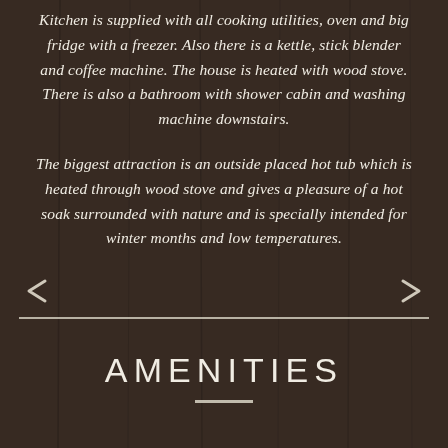Kitchen is supplied with all cooking utilities, oven and big fridge with a freezer. Also there is a kettle, stick blender and coffee machine. The house is heated with wood stove. There is also a bathroom with shower cabin and washing machine downstairs.
The biggest attraction is an outside placed hot tub which is heated through wood stove and gives a pleasure of a hot soak surrounded with nature and is specially intended for winter months and low temperatures.
[Figure (other): A horizontal decorative divider with arrow pointing left on the left side and arrow pointing right on the right side, with a horizontal line beneath]
AMENITIES